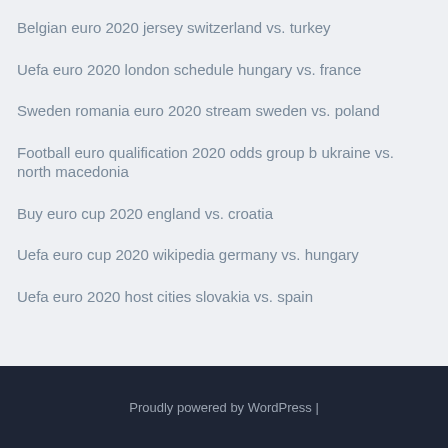Belgian euro 2020 jersey switzerland vs. turkey
Uefa euro 2020 london schedule hungary vs. france
Sweden romania euro 2020 stream sweden vs. poland
Football euro qualification 2020 odds group b ukraine vs. north macedonia
Buy euro cup 2020 england vs. croatia
Uefa euro cup 2020 wikipedia germany vs. hungary
Uefa euro 2020 host cities slovakia vs. spain
Proudly powered by WordPress |